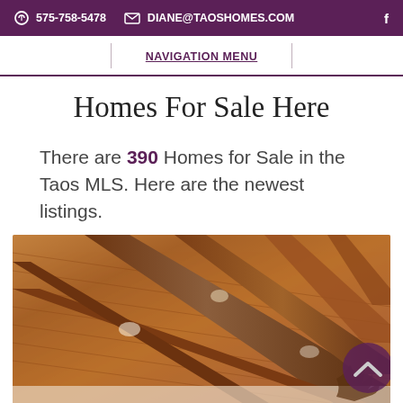575-758-5478  DIANE@TAOSHOMES.COM  f
NAVIGATION MENU
Homes For Sale Here
There are 390 Homes for Sale in the Taos MLS. Here are the newest listings.
[Figure (photo): Interior photo showing a wooden ceiling with exposed beams and recessed lighting, taken from below looking up at an angle. Warm brown tones throughout.]